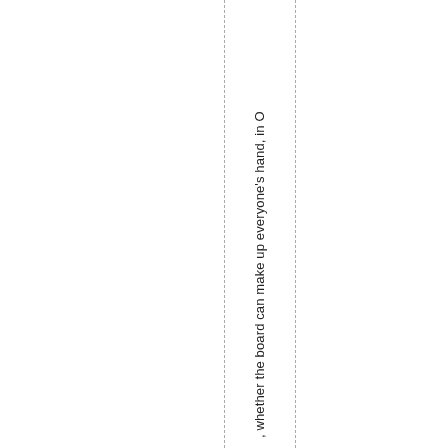, whether the board can make up everyone's hand, in O